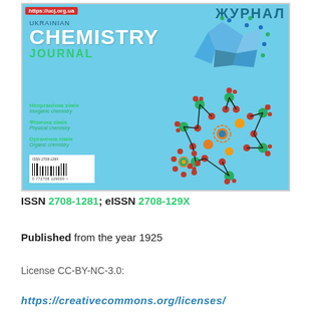[Figure (illustration): Cover of Ukrainian Chemistry Journal showing the journal title in Ukrainian (Журнал) and English (UKRAINIAN CHEMISTRY JOURNAL), with molecular structure imagery (polyoxometalate clusters with green, red, orange, blue atoms), subject areas listed (Неорганічна хімія / Inorganic chemistry, Фізична хімія / Physical chemistry, Органічна хімія / Organic chemistry), ISSN barcode, and URL https://ucj.org.ua]
ISSN 2708-1281; eISSN 2708-129X
Published from the year 1925
License CC-BY-NC-3.0:
https://creativecommons.org/licenses/